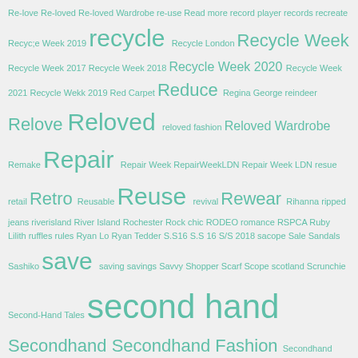[Figure (infographic): Tag cloud of secondhand/sustainable fashion related terms in teal/green color on light grey background. Terms vary in font size indicating frequency/importance. Key large terms include: recycle, Recycle Week, Reduce, Relove, Reloved, Repair, Retro, Reuse, Rewear, save, second hand, Secondhand, Secondhand Fashion, Secondhand Style, sewing, shirts, Shoes, shopping.]